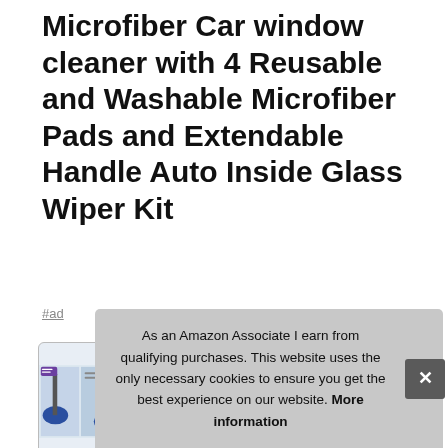Microfiber Car window cleaner with 4 Reusable and Washable Microfiber Pads and Extendable Handle Auto Inside Glass Wiper Kit
#ad
[Figure (photo): Four thumbnail product images of a microfiber car window cleaner tool with extendable handle]
Astu... and... can... extra long extension handle and pivoting head getting to those
As an Amazon Associate I earn from qualifying purchases. This website uses the only necessary cookies to ensure you get the best experience on our website. More information